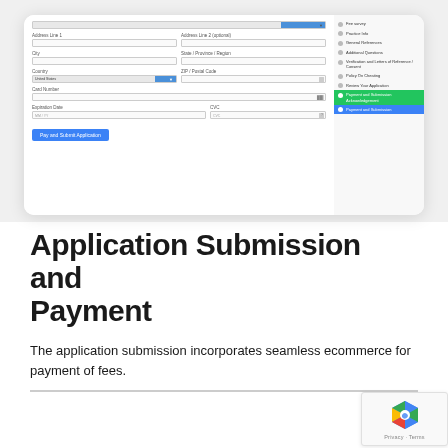[Figure (screenshot): Screenshot of a payment and application submission form with fields for address, city, state/province, country (United States selected), zip/postal code, card number, expiration date, CVV, and a 'Pay and Submit Application' button. A sidebar navigation on the right shows steps including 'Payment and Submission' highlighted in blue.]
Application Submission and Payment
The application submission incorporates seamless ecommerce for payment of fees.